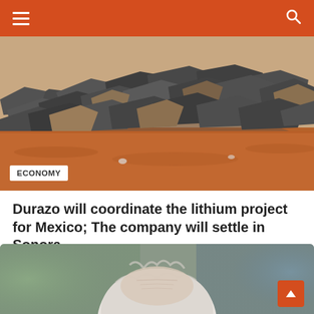Navigation bar with menu and search icons
[Figure (photo): Pile of rocks/stones on reddish-brown earth, mining site]
ECONOMY
Durazo will coordinate the lithium project for Mexico; The company will settle in Sonora
August 30, 2022 / Camelia Bacchus
[Figure (photo): Close-up of an elderly woman with white/silver hair, blurred background with green and blue tones]